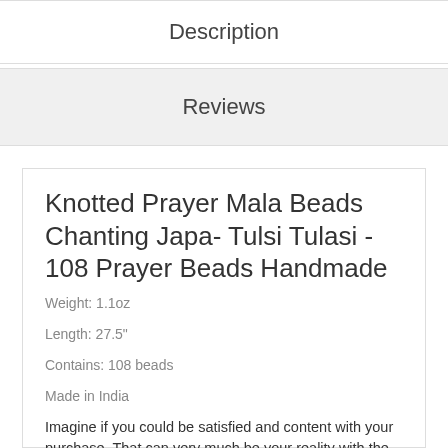Description
Reviews
Knotted Prayer Mala Beads Chanting Japa- Tulsi Tulasi - 108 Prayer Beads Handmade
Weight: 1.1oz
Length: 27.5"
Contains: 108 beads
Made in India
Imagine if you could be satisfied and content with your purchase. That can very much be your reality with the Prayer Mala Beads Chanting Japa- Tulsi Tulasi 108 Prayer